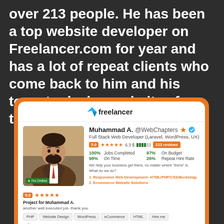over 213 people. He has been a top website developer on Freelancer.com for year and has a lot of repeat clients who come back to him and his team to design websites for them.
[Figure (screenshot): Screenshot of a Freelancer.com profile card for Muhammad A. (@WebChapters), showing rating 5.0, 213 reviews, stats (100% Jobs Completed, 97% On Budget, 98% On Time, 26% Repeat Hire Rate), profile photo, and a review from Craig D.]